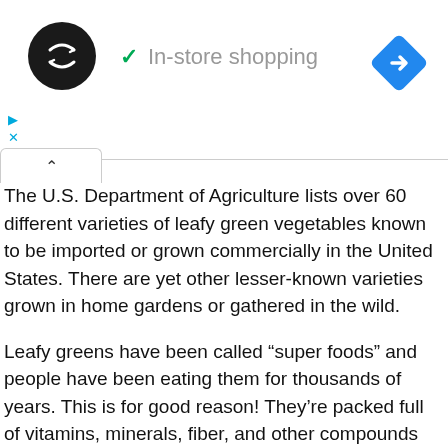In-store shopping
The U.S. Department of Agriculture lists over 60 different varieties of leafy green vegetables known to be imported or grown commercially in the United States. There are yet other lesser-known varieties grown in home gardens or gathered in the wild.
Leafy greens have been called “super foods” and people have been eating them for thousands of years. This is for good reason! They’re packed full of vitamins, minerals, fiber, and other compounds that boost our health in many ways. Plus, they’re very low in calories, and can be enjoyed raw or cooked in a variety of ways. What more could we possibly ask for in a